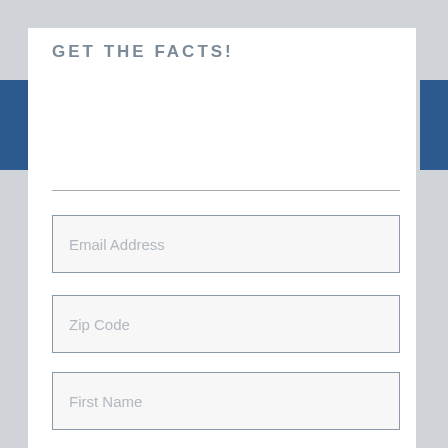GET THE FACTS!
Email Address
Zip Code
First Name
Last Name
Sign Up